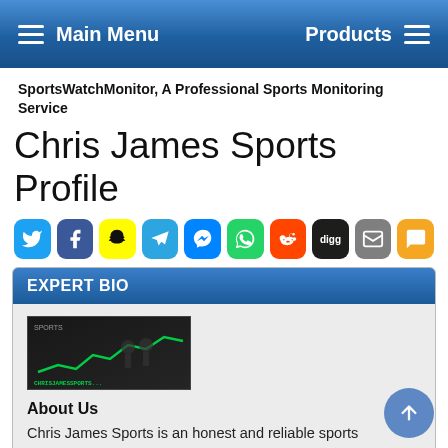Main Menu | Products
SportsWatchMonitor, A Professional Sports Monitoring Service
Chris James Sports Profile
[Figure (other): Row of social media share buttons: Twitter, Facebook, Snapchat, Telegram, Messenger, WhatsApp, Reddit, Digg, Email, SMS]
EXPERT BIO
[Figure (photo): ChrisJamesSports logo image with green chart line and hockey players on dark background]
About Us
Chris James Sports is an honest and reliable sports handicapping website. Let me say that again.....honest and reliable! Those two words are very important to me, and they should be to you too if your looking for sports